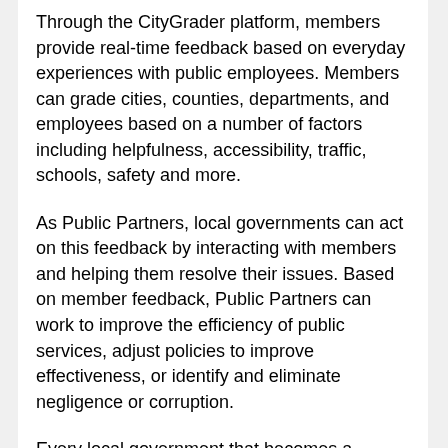Through the CityGrader platform, members provide real-time feedback based on everyday experiences with public employees. Members can grade cities, counties, departments, and employees based on a number of factors including helpfulness, accessibility, traffic, schools, safety and more.
As Public Partners, local governments can act on this feedback by interacting with members and helping them resolve their issues. Based on member feedback, Public Partners can work to improve the efficiency of public services, adjust policies to improve effectiveness, or identify and eliminate negligence or corruption.
Every local government that becomes a CityGrader Public Partner pledges an oath to actively monitor feedback and engage with the residents they serve to improve accountability, transparency and public